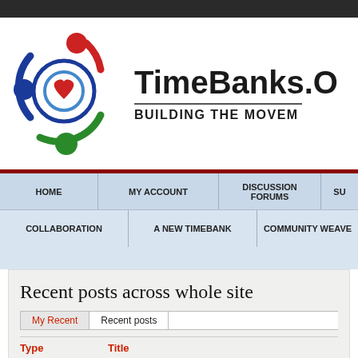[Figure (logo): TimeBanks.Org logo with circular icon of three people figures in red, blue, and green colors with concentric circles and a heart in the center]
TimeBanks.O BUILDING THE MOVEM
HOME | MY ACCOUNT | DISCUSSION FORUMS | SU
COLLABORATION | A NEW TIMEBANK | COMMUNITY WEAVE
Recent posts across whole site
My Recent | Recent posts
Type   Title